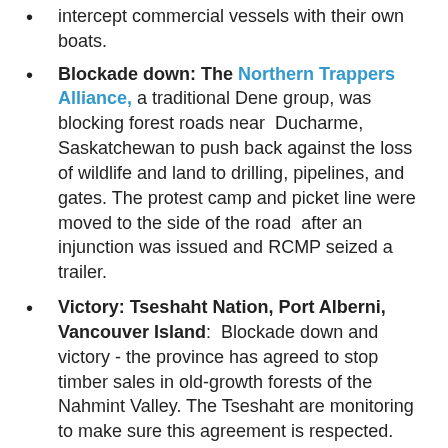intercept commercial vessels with their own boats.
Blockade down: The Northern Trappers Alliance, a traditional Dene group, was blocking forest roads near Ducharme, Saskatchewan to push back against the loss of wildlife and land to drilling, pipelines, and gates. The protest camp and picket line were moved to the side of the road after an injunction was issued and RCMP seized a trailer.
Victory: Tseshaht Nation, Port Alberni, Vancouver Island: Blockade down and victory - the province has agreed to stop timber sales in old-growth forests of the Nahmint Valley. The Tseshaht are monitoring to make sure this agreement is respected.
Blockade down: Klabona Keepers, Talhtan Nation (near Iskut) Blockade removed after injunction issued. They were blocking Imperial Metals mine in Sacred Headwaters and other